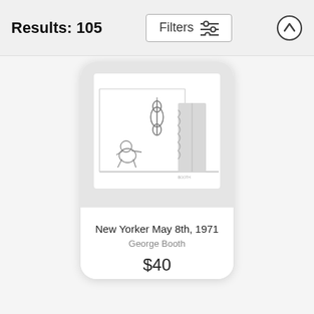Results: 105
[Figure (screenshot): A New Yorker cartoon sketch showing a person kneeling before a violin hanging on a wall, with a curtained doorway on the right]
New Yorker May 8th, 1971
George Booth
$40